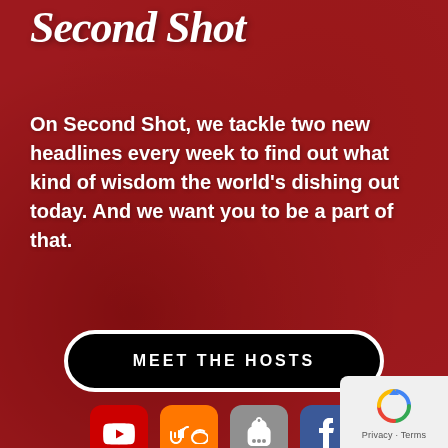Second Shot
On Second Shot, we tackle two new headlines every week to find out what kind of wisdom the world's dishing out today. And we want you to be a part of that.
MEET THE HOSTS
[Figure (infographic): Row of four social media platform icons: YouTube (red), SoundCloud (orange), Apple Podcasts (grey), Facebook (blue)]
[Figure (logo): reCAPTCHA widget with Privacy - Terms text]